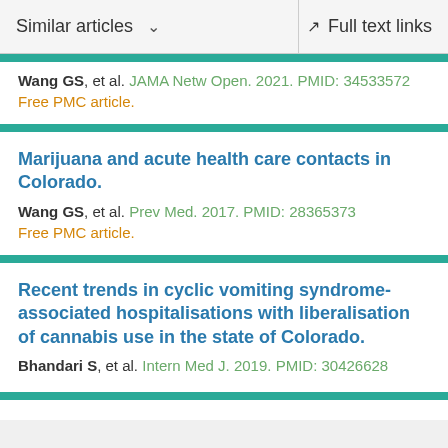Similar articles    Full text links
Wang GS, et al. JAMA Netw Open. 2021. PMID: 34533572
Free PMC article.
Marijuana and acute health care contacts in Colorado.
Wang GS, et al. Prev Med. 2017. PMID: 28365373
Free PMC article.
Recent trends in cyclic vomiting syndrome-associated hospitalisations with liberalisation of cannabis use in the state of Colorado.
Bhandari S, et al. Intern Med J. 2019. PMID: 30426628